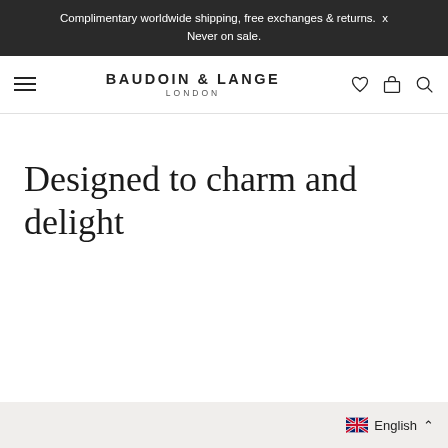Complimentary worldwide shipping, free exchanges & returns.  x
Never on sale.
BAUDOIN & LANGE LONDON
Designed to charm and delight
English